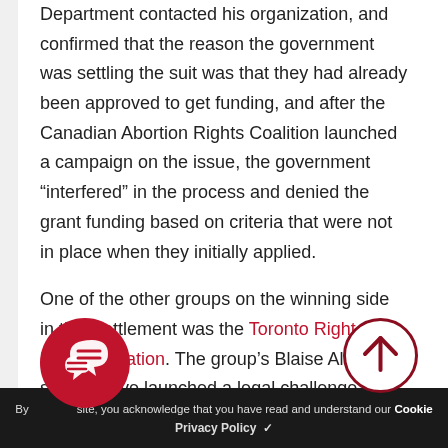Department contacted his organization, and confirmed that the reason the government was settling the suit was that they had already been approved to get funding, and after the Canadian Abortion Rights Coalition launched a campaign on the issue, the government “interfered” in the process and denied the grant funding based on criteria that were not in place when they initially applied.
One of the other groups on the winning side in that settlement was the Toronto Right to Life Association. The group’s Blaise Alleyn says they’ve launched a legal challenge against the new rules “not illegal to hold a different belief than
[Figure (illustration): Red circular chat/comment bubble icon with two chat bubbles and lines, overlaid at bottom left]
[Figure (illustration): Dark red circular up-arrow button at bottom right]
By using this site, you acknowledge that you have read and understand our Cookie Privacy Policy ✓